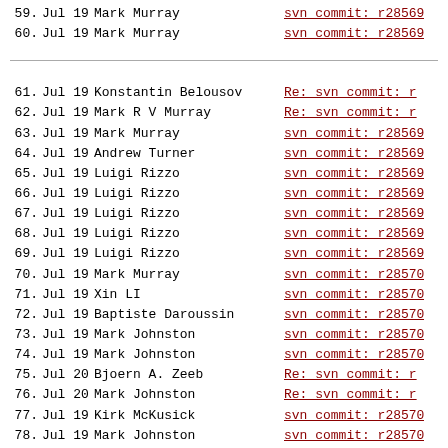59. Jul 19 Mark Murray svn commit: r28569
60. Jul 19 Mark Murray svn commit: r28569
61. Jul 19 Konstantin Belousov Re: svn commit: r
62. Jul 19 Mark R V Murray Re: svn commit: r
63. Jul 19 Mark Murray svn commit: r28569
64. Jul 19 Andrew Turner svn commit: r28569
65. Jul 19 Luigi Rizzo svn commit: r28569
66. Jul 19 Luigi Rizzo svn commit: r28569
67. Jul 19 Luigi Rizzo svn commit: r28569
68. Jul 19 Luigi Rizzo svn commit: r28569
69. Jul 19 Luigi Rizzo svn commit: r28569
70. Jul 19 Mark Murray svn commit: r28570
71. Jul 19 Xin LI svn commit: r28570
72. Jul 19 Baptiste Daroussin svn commit: r28570
73. Jul 19 Mark Johnston svn commit: r28570
74. Jul 19 Mark Johnston svn commit: r28570
75. Jul 20 Bjoern A. Zeeb Re: svn commit: r
76. Jul 20 Mark Johnston Re: svn commit: r
77. Jul 19 Kirk McKusick svn commit: r28570
78. Jul 19 Mark Johnston svn commit: r28570
79. Jul 19 Marcel Moolenaar svn commit: r28570
80. Jul 20 Mark Johnston svn commit: r28570